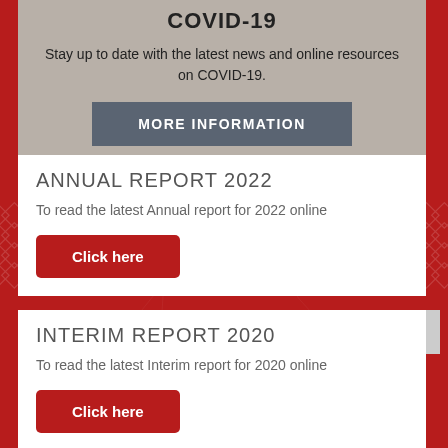COVID-19
Stay up to date with the latest news and online resources on COVID-19.
MORE INFORMATION
ANNUAL REPORT 2022
To read the latest Annual report for 2022 online
Click here
INTERIM REPORT 2020
To read the latest Interim report for 2020 online
Click here